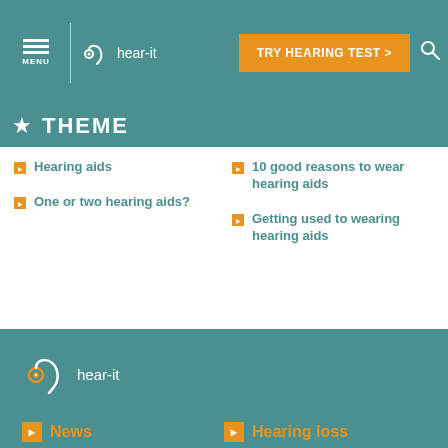hear-it | TRY HEARING TEST > | MENU
THEME
Hearing aids
10 good reasons to wear hearing aids
One or two hearing aids?
Getting used to wearing hearing aids
[Figure (logo): hear-it logo in footer with hearing aid icon in orange and white text]
News
Hearing loss